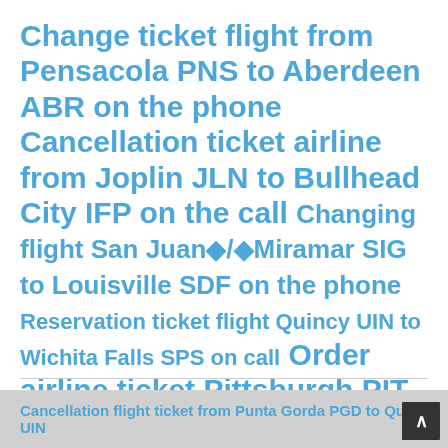Change ticket flight from Pensacola PNS to Aberdeen ABR on the phone Cancellation ticket airline from Joplin JLN to Bullhead City IFP on the call Changing flight San Juan◆/◆Miramar SIG to Louisville SDF on the phone Reservation ticket flight Quincy UIN to Wichita Falls SPS on call Order airline ticket Pittsburgh PIT Flagstaff FLG over call
Cancellation flight ticket from Punta Gorda PGD to Quincy UIN